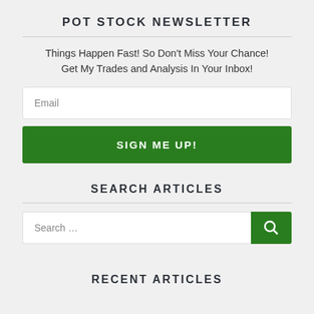POT STOCK NEWSLETTER
Things Happen Fast! So Don't Miss Your Chance!
Get My Trades and Analysis In Your Inbox!
Email
SIGN ME UP!
SEARCH ARTICLES
Search ...
RECENT ARTICLES